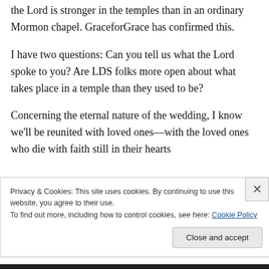the Lord is stronger in the temples than in an ordinary Mormon chapel. GraceforGrace has confirmed this.
I have two questions: Can you tell us what the Lord spoke to you? Are LDS folks more open about what takes place in a temple than they used to be?
Concerning the eternal nature of the wedding, I know we'll be reunited with loved ones—with the loved ones who die with faith still in their hearts
Privacy & Cookies: This site uses cookies. By continuing to use this website, you agree to their use.
To find out more, including how to control cookies, see here: Cookie Policy
Close and accept